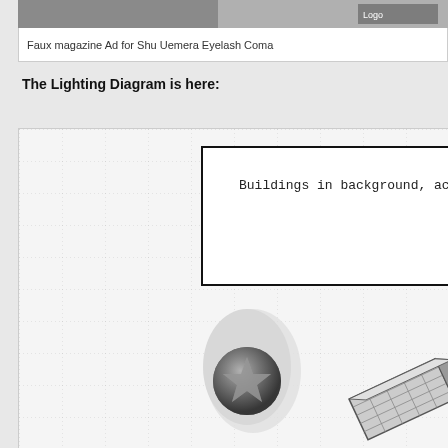Faux magazine Ad for Shu Uemera Eyelash Coma…
The Lighting Diagram is here:
[Figure (schematic): Lighting diagram on a dotted grid background showing a rectangular box labeled 'Buildings in background, acro...' in the upper right area, a round light modifier (softbox or beauty dish with grid) in the lower center, and a rectangular light source (strip or softbox) in the lower right corner.]